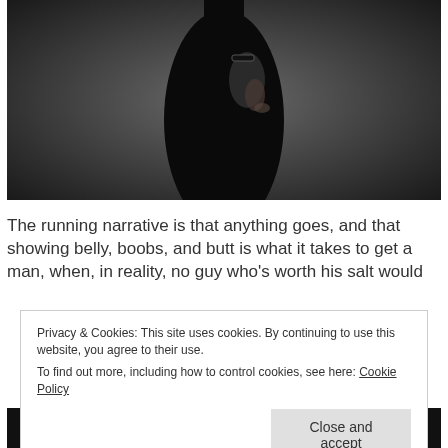[Figure (photo): A figure dressed in black against a dark grey gradient background, torso and hands visible, dramatic low-key lighting.]
The running narrative is that anything goes, and that showing belly, boobs, and butt is what it takes to get a man, when, in reality, no guy who’s worth his salt would
Privacy & Cookies: This site uses cookies. By continuing to use this website, you agree to their use.
To find out more, including how to control cookies, see here: Cookie Policy
Close and accept
[Figure (logo): Longreads logo at the bottom of the page on a dark background strip.]